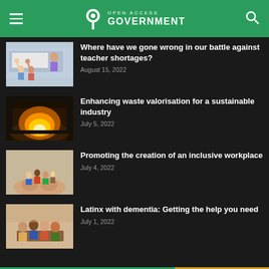Open Access Government
Where have we gone wrong in our battle against teacher shortages?
August 15, 2022
Enhancing waste valorisation for a sustainable industry
July 5, 2022
Promoting the creation of an inclusive workplace
July 4, 2022
Latinx with dementia: Getting the help you need
July 1, 2022